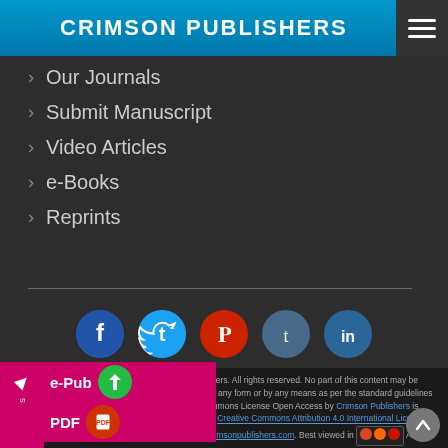CRIMSON PUBLISHERS
> Our Journals
> Submit Manuscript
> Video Articles
> e-Books
> Reprints
[Figure (infographic): Row of 5 social media icon circles: Facebook (dark blue), Twitter (light blue), Pinterest (red), Tumblr (slate blue), LinkedIn (blue)]
© 2017 Crimson Publishers. All rights reserved. No part of this content may be reproduced or transmitted in any form or by any means as per the standard guidelines of fair use. Creative Commons License Open Access by Crimson Publishers is licensed under [CC BY] a Creative Commons Attribution 4.0 International License. Based on a work at www.crimsonpublishers.com. Best viewed in [browser icons] Above IE 9.0 version